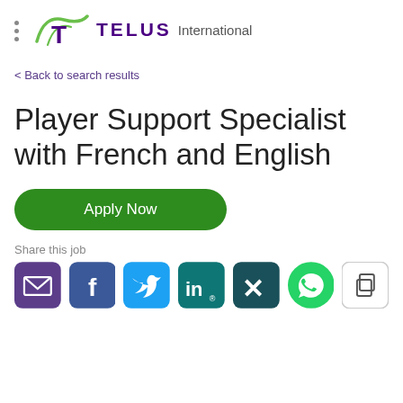[Figure (logo): TELUS International logo with stylized T and green swoosh, purple TELUS text, and gray International text]
< Back to search results
Player Support Specialist with French and English
Apply Now
Share this job
[Figure (illustration): Social sharing icons: email (purple), Facebook (blue), Twitter (cyan), LinkedIn (teal), Xing (dark teal), WhatsApp (green), Copy (gray outline)]